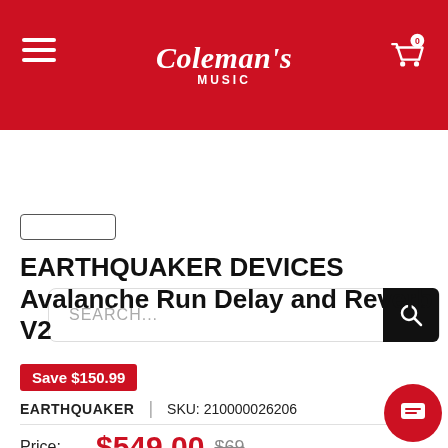Coleman's Music
EARTHQUAKER DEVICES Avalanche Run Delay and Reverb V2
Save $150.99
EARTHQUAKER | SKU: 210000026206
Price: $549.00 $699.99 or 4 interest-free payments of $137.25 with afterpay